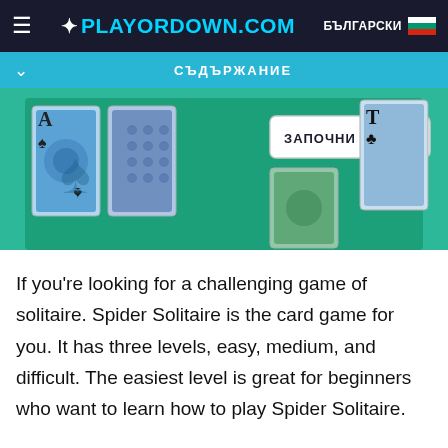≡  ✦PLAYORDOWN.COM  БЪЛГАРСКИ 🇧🇬
СЪДЪРЖАНИЕ
[Figure (screenshot): Spider Solitaire game interface showing playing cards on a green/teal background with a 'ЗАПОЧНИ ИГРАТА' (Start the Game) button]
If you're looking for a challenging game of solitaire. Spider Solitaire is the card game for you. It has three levels, easy, medium, and difficult. The easiest level is great for beginners who want to learn how to play Spider Solitaire.
Spider Solitaire is played with two 52 card decks that are dealt in 10 piles, with the top card in each pile facing up. The object of the game is to